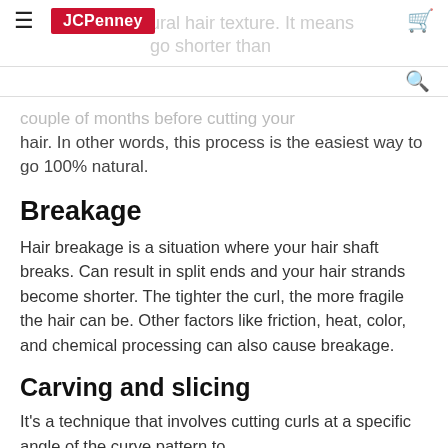JCPenney — [faded] ural hair texture. It means ... go shorter than
couple of months before cutting your hair. In other words, this process is the easiest way to go 100% natural.
Breakage
Hair breakage is a situation where your hair shaft breaks. Can result in split ends and your hair strands become shorter. The tighter the curl, the more fragile the hair can be. Other factors like friction, heat, color, and chemical processing can also cause breakage.
Carving and slicing
It's a technique that involves cutting curls at a specific angle of the curve pattern to